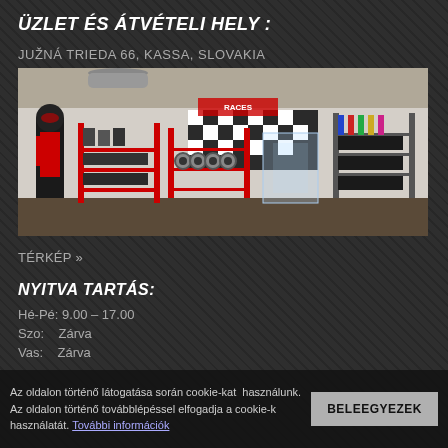ÜZLET ÉS ÁTVÉTELI HELY :
JUŽNÁ TRIEDA 66, KASSA, SLOVAKIA
[Figure (photo): Interior of a motorsport/racing equipment shop with shelving units displaying helmets, racing suits, wheels, and other racing accessories. A racing suit on a mannequin is visible on the left, and the back wall has a black-and-white checkered pattern with a Races brand logo.]
TÉRKÉP »
NYITVA TARTÁS:
Hé-Pé: 9.00 – 17.00
Szo:    Zárva
Vas:    Zárva
Az oldalon történő látogatása során cookie-kat  használunk. Az oldalon történő továbblépéssel elfogadja a cookie-k használatát. További információk